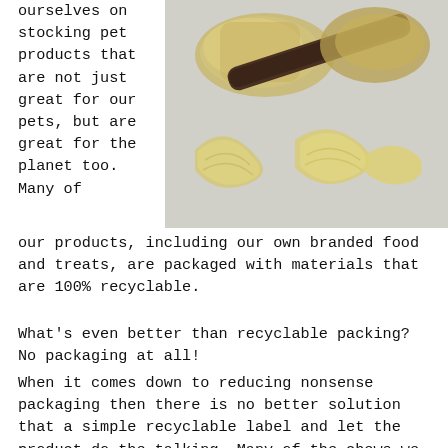[Figure (photo): Dried pet chews and treats including bones and fish skins arranged on a light grey background]
ourselves on stocking pet products that are not just great for our pets, but are great for the planet too. Many of our products, including our own branded food and treats, are packaged with materials that are 100% recyclable.
What's even better than recyclable packing? No packaging at all!
When it comes down to reducing nonsense packaging then there is no better solution that a simple recyclable label and let the product do the talking. Many of the chews we sell at Natural Cornish Pet Shop are packaged in their own skin so you can see exactly what you are